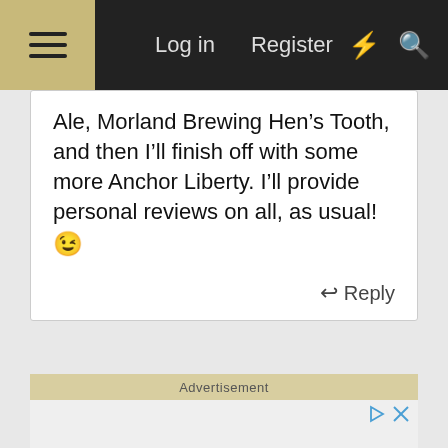Log in  Register
Ale, Morland Brewing Hen’s Tooth, and then I’ll finish off with some more Anchor Liberty. I’ll provide personal reviews on all, as usual! 😉
↩ Reply
Advertisement
[Figure (screenshot): Advertisement area with ad controls (play and close icons) in the top right corner]
Report Ad